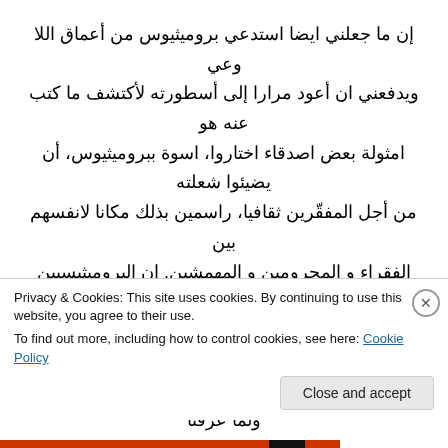إن ما جعلني ايضا استدعي بروميثيوس من أعماق اللا وعي ويدفعني ان أعود مرارا إلى أسطورته لأكتشف ما كتب عنه هو امثولة بعض اصدقاء اختاروا، اسوة ببروميثيوس، أن يضيئوا شعلته من أجل المفقّرين ثقافيا، راسمين بذلك مكانا لانفسهم بين الفقراء و المحرومين و المهمشين. إن البروميثيسيين السوريين الثوريين هم الذين من أعاد بروميثيوس الأسطورة إلى ذهني. ثم ظهر أبطال آخرون لم يحكى عنهم أحد او يمجدهم احد ولما عرفنا
Privacy & Cookies: This site uses cookies. By continuing to use this website, you agree to their use.
To find out more, including how to control cookies, see here: Cookie Policy
Close and accept